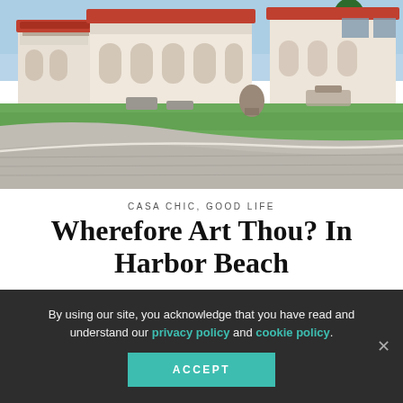[Figure (photo): Exterior of a large luxury Mediterranean-style mansion with red tile roof, arched colonnades, green lawn, concrete pavers, and outdoor seating]
CASA CHIC,  GOOD LIFE
Wherefore Art Thou? In Harbor Beach
By using our site, you acknowledge that you have read and understand our privacy policy and cookie policy.
ACCEPT